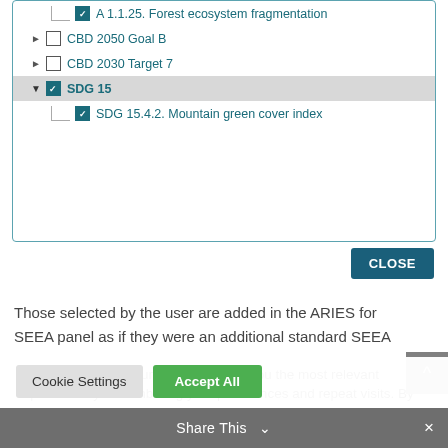[Figure (screenshot): UI tree/checklist panel showing checkable items: A 1.1.25. Forest ecosystem fragmentation (checked), CBD 2050 Goal B (unchecked, collapsed), CBD 2030 Target 7 (unchecked, collapsed), SDG 15 (checked, expanded, highlighted), SDG 15.4.2. Mountain green cover index (checked). A CLOSE button appears below the panel.]
Those selected by the user are added in the ARIES for SEEA panel as if they were an additional standard SEEA
We use cookies on our website to give you the most relevant experience by remembering your preferences and repeat visits. By clicking “Accept All”, you consent to the use of ALL the cookies. However, you may visit “Cookie Settings” to provide a controlled consent. Read More
Cookie Settings
Accept All
Share This ∨